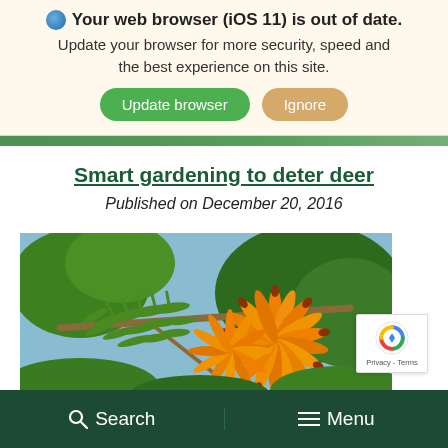Your web browser (iOS 11) is out of date. Update your browser for more security, speed and the best experience on this site. Update browser | Ignore
Smart gardening to deter deer
Published on December 20, 2016
[Figure (photo): Close-up photograph of orange tubular flowers on a green conifer branch, with green foliage background. A reCAPTCHA badge (Privacy - Terms) overlays the lower right corner.]
Search   Menu